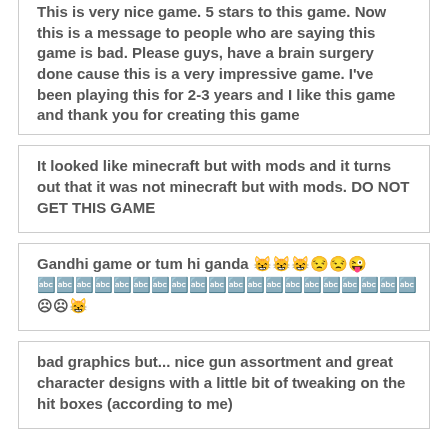This is very nice game. 5 stars to this game. Now this is a message to people who are saying this game is bad. Please guys, have a brain surgery done cause this is a very impressive game. I've been playing this for 2-3 years and I like this game and thank you for creating this game
It looked like minecraft but with mods and it turns out that it was not minecraft but with mods. DO NOT GET THIS GAME
Gandhi game or tum hi ganda 😸😸😸😒😒😜🔤🔤🔤🔤🔤🔤🔤🔤🔤🔤🔤🔤🔤🔤🔤🔤🔤🔤🔤🔤☹☹😸
bad graphics but... nice gun assortment and great character designs with a little bit of tweaking on the hit boxes (according to me)